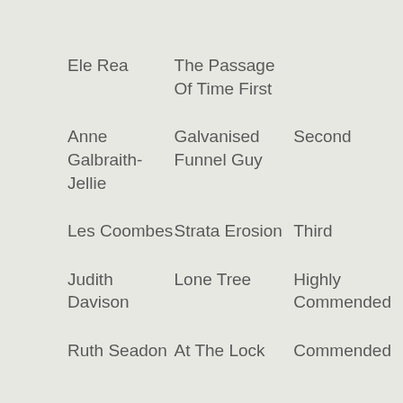| Ele Rea | The Passage Of Time First |  |
| Anne Galbraith-Jellie | Galvanised Funnel Guy | Second |
| Les Coombes | Strata Erosion | Third |
| Judith Davison | Lone Tree | Highly Commended |
| Ruth Seadon | At The Lock | Commended |